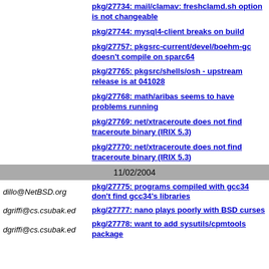pkg/27734: mail/clamav: freshclamd.sh option is not changeable
pkg/27744: mysql4-client breaks on build
pkg/27757: pkgsrc-current/devel/boehm-gc doesn't compile on sparc64
pkg/27765: pkgsrc/shells/osh - upstream release is at 041028
pkg/27768: math/aribas seems to have problems running
pkg/27769: net/xtraceroute does not find traceroute binary (IRIX 5.3)
pkg/27770: net/xtraceroute does not find traceroute binary (IRIX 5.3)
11/02/2004
dillo@NetBSD.org
pkg/27775: programs compiled with gcc34 don't find gcc34's libraries
dgriffi@cs.csubak.ed
pkg/27777: nano plays poorly with BSD curses
dgriffi@cs.csubak.ed
pkg/27778: want to add sysutils/cpmtools package